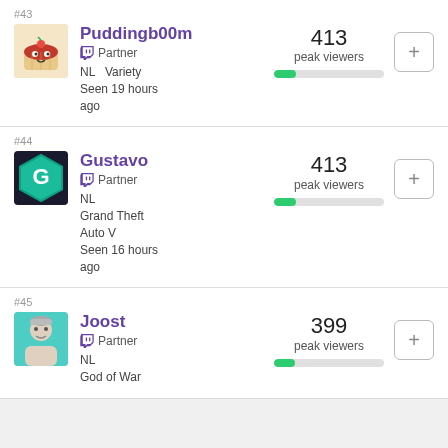#43 Puddingb00m Partner NL Variety Seen 19 hours ago 413 peak viewers
#44 Gustavo Partner NL Grand Theft Auto V Seen 16 hours ago 413 peak viewers
#45 Joost Partner NL God of War 399 peak viewers